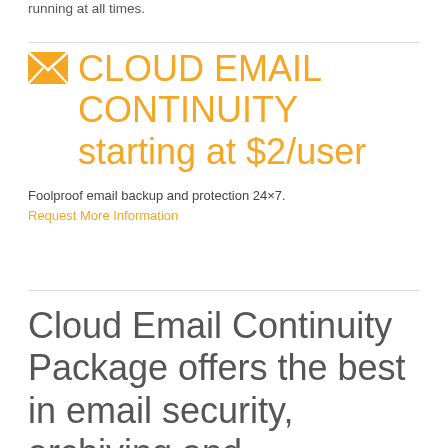running at all times.
CLOUD EMAIL CONTINUITY starting at $2/user
Foolproof email backup and protection 24×7.
Request More Information
Cloud Email Continuity Package offers the best in email security, archiving and compliance: